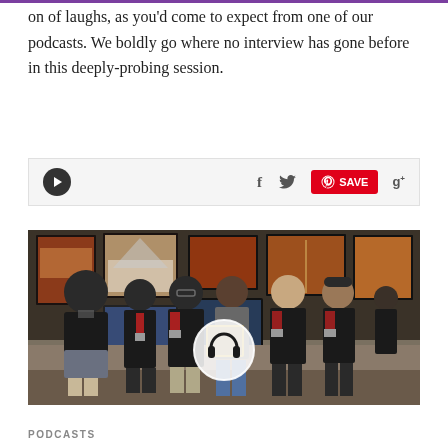on of laughs, as you'd come to expect from one of our podcasts. We boldly go where no interview has gone before in this deeply-probing session.
[Figure (screenshot): A podcast action bar with a play button, Facebook icon, Twitter bird icon, Pinterest SAVE button in red, and Google+ icon]
[Figure (photo): Group photo of six men in black shirts with lanyards/badges standing in front of framed art prints at what appears to be a trade show or gallery. One man in the center is holding a framed picture. A circular headphone icon overlay is visible in the center of the image.]
PODCASTS